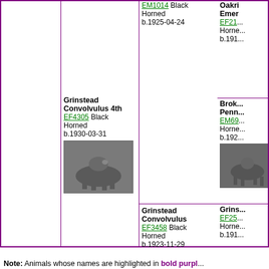|  | Animal | Sire/Dam | Parents |
| --- | --- | --- | --- |
|  | Grinstead Convolvulus 4th EF4305 Black Horned b.1930-03-31 | EM1014 Black Horned b.1925-04-24 | Oakri Emer EF21... Horned b.191... |
|  |  | Grinstead Convolvulus EF3458 Black Horned b.1923-11-29 | Broke Penn EM69... Horned b.192... |
|  |  |  | Grins... EF25... Horned b.191... |
Note: Animals whose names are highlighted in bold purple...